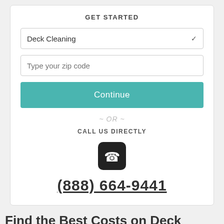GET STARTED
Deck Cleaning (dropdown)
Type your zip code (input)
Continue (button)
~ OR ~
CALL US DIRECTLY
[Figure (illustration): Phone icon — black rounded square with white telephone handset]
(888) 664-9441
Find the Best Costs on Deck Cleaning - San Dimas, CA